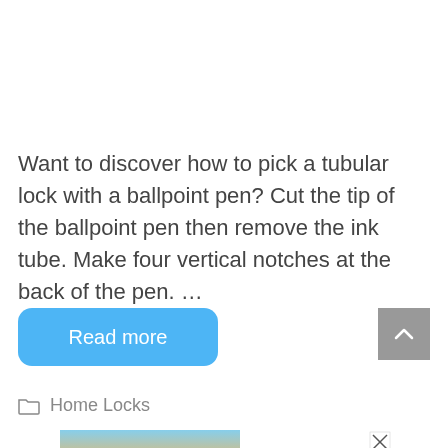Want to discover how to pick a tubular lock with a ballpoint pen? Cut the tip of the ballpoint pen then remove the ink tube. Make four vertical notches at the back of the pen. …
Read more
Home Locks
[Figure (other): Advertisement banner showing silhouette of hands forming heart shape against sunset sky, with text #ViralKindness and close button]